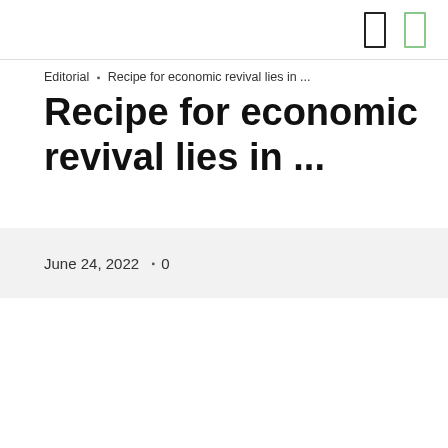Editorial ▸ Recipe for economic revival lies in ...
Recipe for economic revival lies in ...
June 24, 2022  ▸ 0